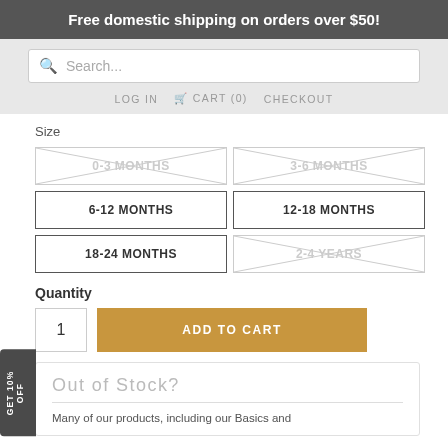Free domestic shipping on orders over $50!
Search...
LOG IN   CART (0)   CHECKOUT
Size
0-3 MONTHS (out of stock)
3-6 MONTHS (out of stock)
6-12 MONTHS
12-18 MONTHS
18-24 MONTHS
2-4 YEARS (out of stock)
Quantity
1
ADD TO CART
GET 10% OFF
Out of Stock?
Many of our products, including our Basics and